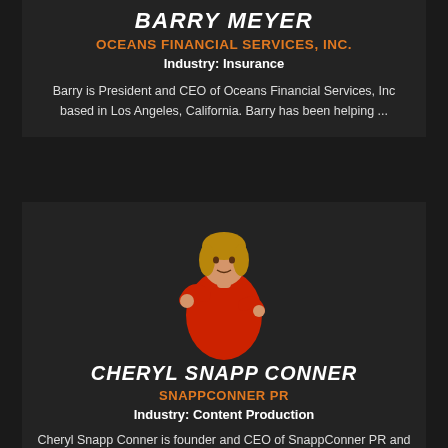BARRY MEYER
OCEANS FINANCIAL SERVICES, INC.
Industry: Insurance
Barry is President and CEO of Oceans Financial Services, Inc based in Los Angeles, California. Barry has been helping ...
[Figure (photo): Photo of Cheryl Snapp Conner in a red outfit presenting on stage]
CHERYL SNAPP CONNER
SNAPPCONNER PR
Industry: Content Production
Cheryl Snapp Conner is founder and CEO of SnappConner PR and creator of Content University™. She ...